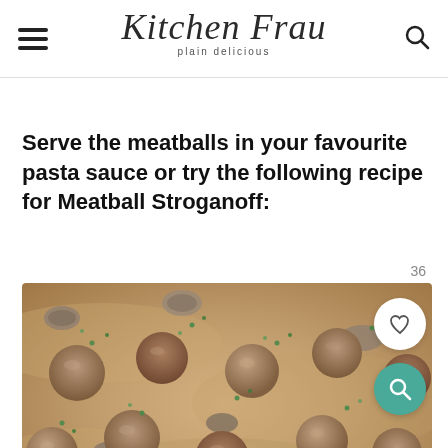Kitchen Frau — plain delicious
Serve the meatballs in your favourite pasta sauce or try the following recipe for Meatball Stroganoff:
[Figure (photo): A pan of meatball stroganoff — meatballs in a creamy sauce with mushrooms and fresh herbs, viewed from above. Number 36 and interactive heart/search buttons visible in corner.]